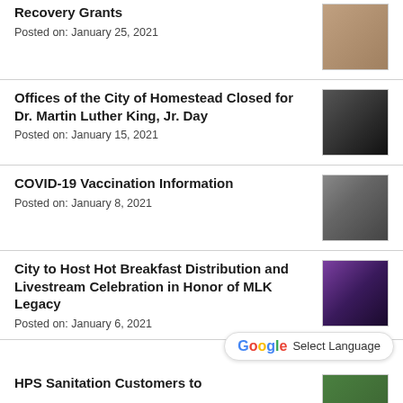Recovery Grants
Posted on: January 25, 2021
Offices of the City of Homestead Closed for Dr. Martin Luther King, Jr. Day
Posted on: January 15, 2021
COVID-19 Vaccination Information
Posted on: January 8, 2021
City to Host Hot Breakfast Distribution and Livestream Celebration in Honor of MLK Legacy
Posted on: January 6, 2021
HPS Sanitation Customers to